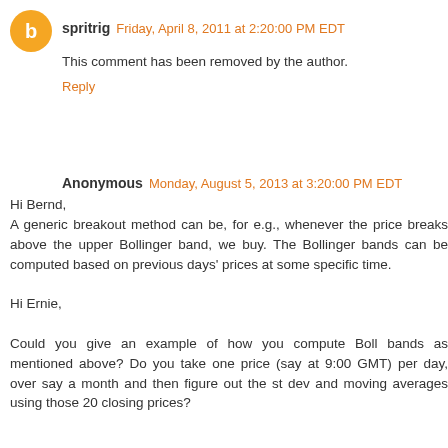spritrig  Friday, April 8, 2011 at 2:20:00 PM EDT
This comment has been removed by the author.
Reply
Anonymous  Monday, August 5, 2013 at 3:20:00 PM EDT
Hi Bernd,
A generic breakout method can be, for e.g., whenever the price breaks above the upper Bollinger band, we buy. The Bollinger bands can be computed based on previous days' prices at some specific time.

Hi Ernie,

Could you give an example of how you compute Boll bands as mentioned above? Do you take one price (say at 9:00 GMT) per day, over say a month and then figure out the st dev and moving averages using those 20 closing prices?